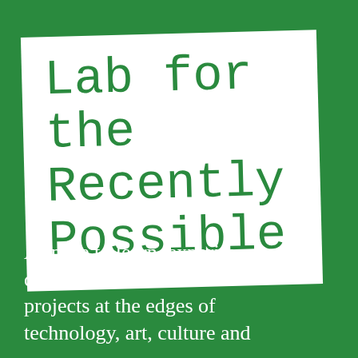Lab for the Recently Possible
A space to learn, experiment, collaborate and incubate projects at the edges of technology, art, culture and